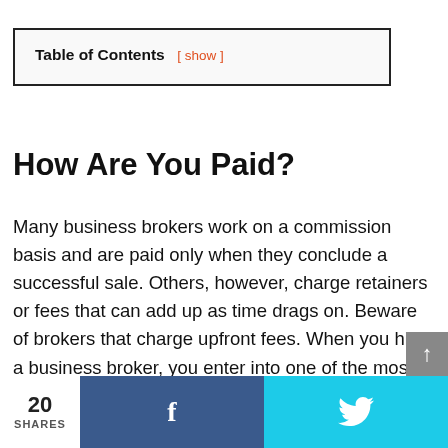| Table of Contents |
| --- |
| [ show ] |
How Are You Paid?
Many business brokers work on a commission basis and are paid only when they conclude a successful sale. Others, however, charge retainers or fees that can add up as time drags on. Beware of brokers that charge upfront fees. When you hire a business broker, you enter into one of the most important partnerships of your career. Your business broker's
20 SHARES  [Facebook share]  [Twitter share]